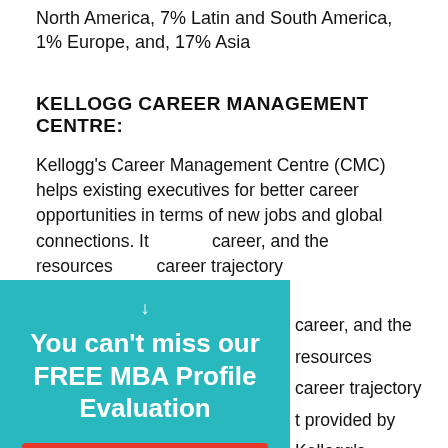North America, 7% Latin and South America, 1% Europe, and, 17% Asia
KELLOGG CAREER MANAGEMENT CENTRE:
Kellogg's Career Management Centre (CMC) helps existing executives for better career opportunities in terms of new jobs and global connections. It [provides tools to advance your] career, and the resources [to elevate your] career trajectory [through support] provided by Kellogg's [...training] [Resea]rch Specialist (unique to [...]) [Priva]te Job Board
[Figure (infographic): Teal popup overlay with text 'You can't miss our FREE MBA Profile Evaluation' and a red 'CLICK HERE!' button]